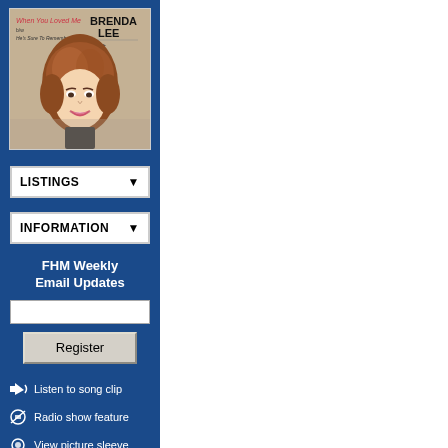[Figure (illustration): Album cover for Brenda Lee - When You Loved Me / He's Sure To Remember Me, showing a portrait of Brenda Lee with bouffant hair]
LISTINGS (dropdown)
INFORMATION (dropdown)
FHM Weekly Email Updates
Listen to song clip
Radio show feature
View picture sleeve
Add to shopping cart